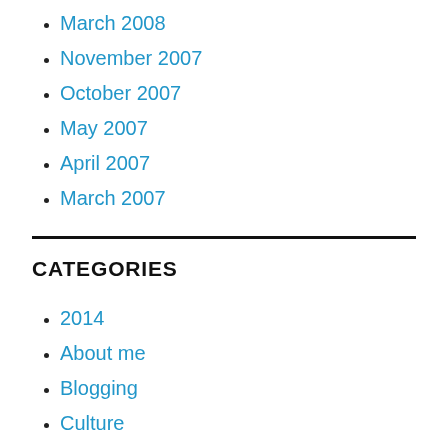March 2008
November 2007
October 2007
May 2007
April 2007
March 2007
CATEGORIES
2014
About me
Blogging
Culture
diymasters